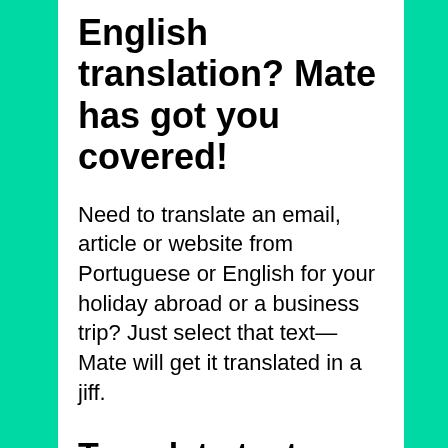English translation? Mate has got you covered!
Need to translate an email, article or website from Portuguese or English for your holiday abroad or a business trip? Just select that text—Mate will get it translated in a jiff.
Translate texts yourself
Stop poking at friends and